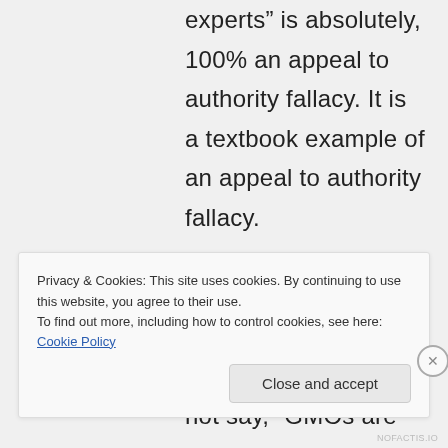experts” is absolutely, 100% an appeal to authority fallacy. It is a textbook example of an appeal to authority fallacy. Further, I did not commit a fallacy fallacy, because I did not say, “GMOs are
Privacy & Cookies: This site uses cookies. By continuing to use this website, you agree to their use.
To find out more, including how to control cookies, see here: Cookie Policy